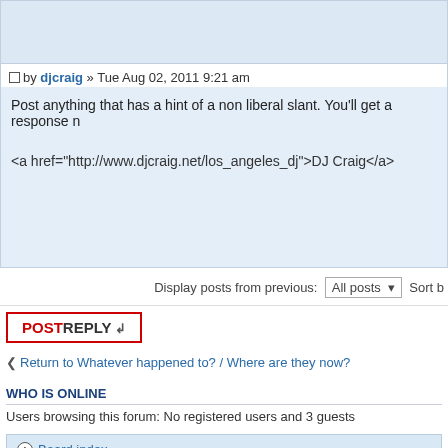[Figure (screenshot): Top portion of a forum post box with light blue background, partially visible]
by djcraig » Tue Aug 02, 2011 9:21 am
Post anything that has a hint of a non liberal slant. You'll get a response n
<a href="http://www.djcraig.net/los_angeles_dj">DJ Craig</a>
Display posts from previous: All posts  Sort b
POSTREPLY
Return to Whatever happened to? / Where are they now?
WHO IS ONLINE
Users browsing this forum: No registered users and 3 guests
Board index
Powered by phpBB® Forum Sof